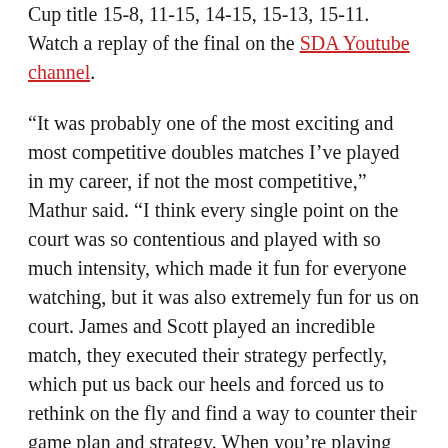Cup title 15-8, 11-15, 14-15, 15-13, 15-11. Watch a replay of the final on the SDA Youtube channel.
“It was probably one of the most exciting and most competitive doubles matches I’ve played in my career, if not the most competitive,” Mathur said. “I think every single point on the court was so contentious and played with so much intensity, which made it fun for everyone watching, but it was also extremely fun for us on court. James and Scott played an incredible match, they executed their strategy perfectly, which put us back our heels and forced us to rethink on the fly and find a way to counter their game plan and strategy. When you’re playing matches at that level you have to find a way to win, but also not find a way to lose, and there were a lot of times in that match that we were playing not to lose. A big thanks to my partner Chris, it was an extremely grueling match with him seeing a lot of rubber. Chris’ mental strength and tenacity really showed up to find ways to dig deep and find the strength to keep playing strong and come out as a team on top.